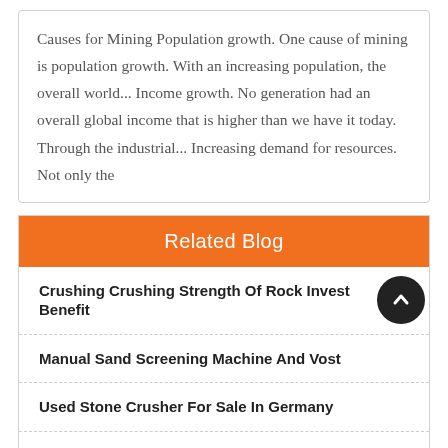Causes for Mining Population growth. One cause of mining is population growth. With an increasing population, the overall world... Income growth. No generation had an overall global income that is higher than we have it today. Through the industrial... Increasing demand for resources. Not only the
Related Blog
Crushing Crushing Strength Of Rock Invest Benefit
Manual Sand Screening Machine And Vost
Used Stone Crusher For Sale In Germany
Equipment For Deep Soil Wet Mixingm China